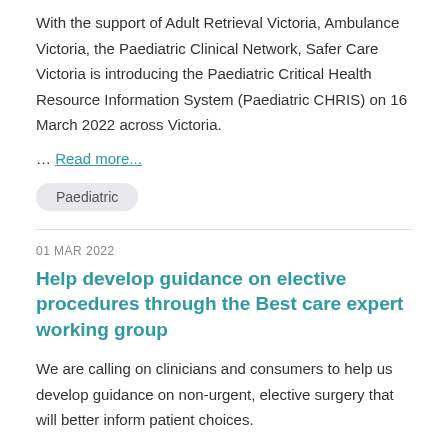With the support of Adult Retrieval Victoria, Ambulance Victoria, the Paediatric Clinical Network, Safer Care Victoria is introducing the Paediatric Critical Health Resource Information System (Paediatric CHRIS) on 16 March 2022 across Victoria.
… Read more...
Paediatric
01 MAR 2022
Help develop guidance on elective procedures through the Best care expert working group
We are calling on clinicians and consumers to help us develop guidance on non-urgent, elective surgery that will better inform patient choices.
Some non-urgent elective procedures only offer benefits